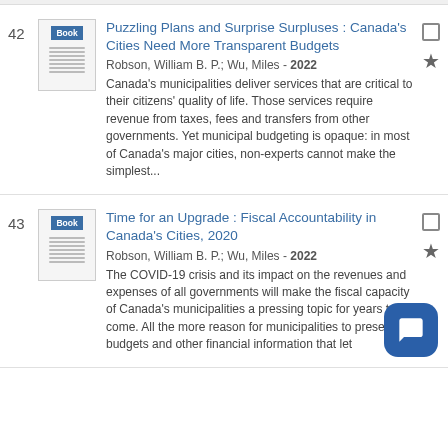42 Puzzling Plans and Surprise Surpluses : Canada's Cities Need More Transparent Budgets — Robson, William B. P.; Wu, Miles - 2022 — Canada's municipalities deliver services that are critical to their citizens' quality of life. Those services require revenue from taxes, fees and transfers from other governments. Yet municipal budgeting is opaque: in most of Canada's major cities, non-experts cannot make the simplest...
43 Time for an Upgrade : Fiscal Accountability in Canada's Cities, 2020 — Robson, William B. P.; Wu, Miles - 2022 — The COVID-19 crisis and its impact on the revenues and expenses of all governments will make the fiscal capacity of Canada's municipalities a pressing topic for years to come. All the more reason for municipalities to present budgets and other financial information that let